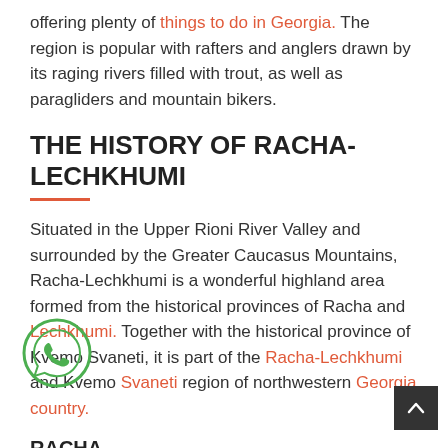offering plenty of things to do in Georgia. The region is popular with rafters and anglers drawn by its raging rivers filled with trout, as well as paragliders and mountain bikers.
THE HISTORY OF RACHA-LECHKHUMI
Situated in the Upper Rioni River Valley and surrounded by the Greater Caucasus Mountains, Racha-Lechkhumi is a wonderful highland area formed from the historical provinces of Racha and Lechkhumi. Together with the historical province of Kvemo Svaneti, it is part of the Racha-Lechkhumi and Kvemo Svaneti region of northwestern Georgia country.
RACHA
Racha is a highland area in western Georgia. It is divided into 2 administrative units comprising the municipalities of Oni and Ambrolauri, with Oni City as its capital.
Since antiquity, Racha has been a part of Colchis and Caucasian Iberia. Oni City, is believed to have been established during the 2nd